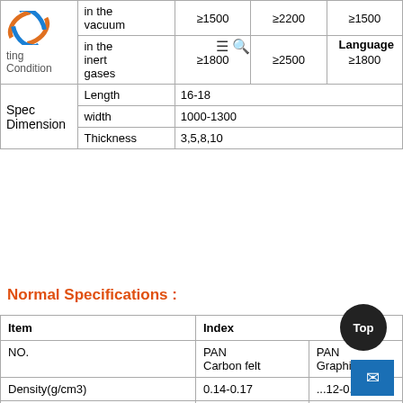|  |  | Col1 | Col2 | Col3 |
| --- | --- | --- | --- | --- |
| [Logo] ting Condition | in the vacuum | ≥1500 | ≥2200 | ≥1500 |
|  | in the inert gases | ≥1800 | ≥2500 | ≥1800 |
| Spec Dimension | Length | 16-18 |  |  |
|  | width | 1000-1300 |  |  |
|  | Thickness | 3,5,8,10 |  |  |
Normal Specifications :
| Item | Index |  |
| --- | --- | --- |
| NO. | PAN Carbon felt | PAN Graphi... |
| Density(g/cm3) | 0.14-0.17 | ...12-0... |
| Ash(%) | ≥98.5 |  |